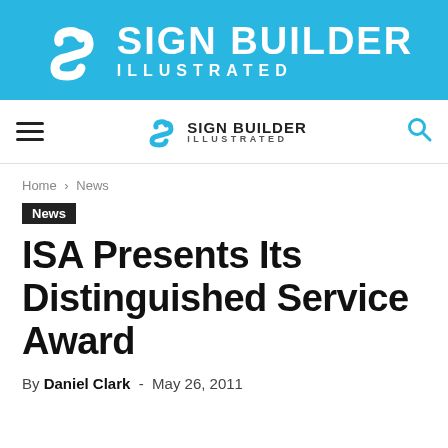[Figure (logo): Sign Builder Illustrated banner logo with white S icon on blue background, large bold white text SIGN BUILDER ILLUSTRATED]
Sign Builder Illustrated — navigation bar with hamburger menu, logo, and search icon
Home › News
News
ISA Presents Its Distinguished Service Award
By Daniel Clark - May 26, 2011